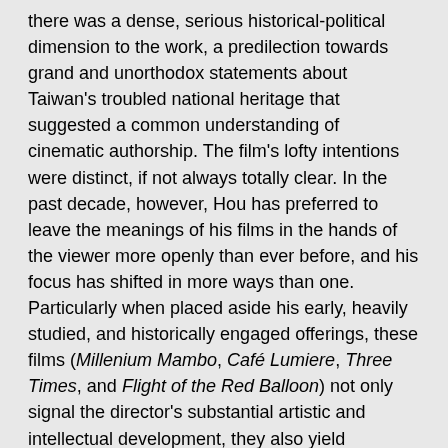there was a dense, serious historical-political dimension to the work, a predilection towards grand and unorthodox statements about Taiwan's troubled national heritage that suggested a common understanding of cinematic authorship. The film's lofty intentions were distinct, if not always totally clear. In the past decade, however, Hou has preferred to leave the meanings of his films in the hands of the viewer more openly than ever before, and his focus has shifted in more ways than one. Particularly when placed aside his early, heavily studied, and historically engaged offerings, these films (Millenium Mambo, Café Lumiere, Three Times, and Flight of the Red Balloon) not only signal the director's substantial artistic and intellectual development, they also yield abundant insights into the still-turbulent relationships between Taiwan and its neighboring East Asian countries, and introduce new perspectives on his signature motifs of time, history, and the irreversible effects of the political on the personal.
One major shift is clear enough from the outset: though already present in his filmography in less overt fashion, Hou's work in the 2000's displays an intimate fascination